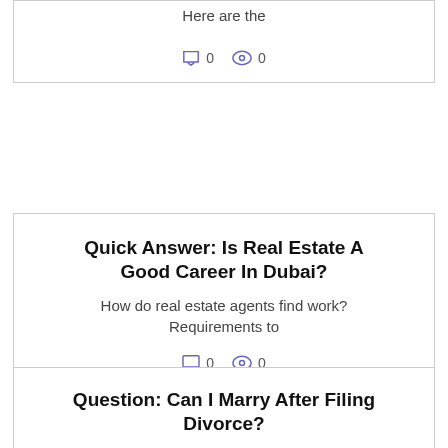Here are the
0  0
Quick Answer: Is Real Estate A Good Career In Dubai?
How do real estate agents find work? Requirements to
0  0
Question: Can I Marry After Filing Divorce?
Can a married woman remarry without